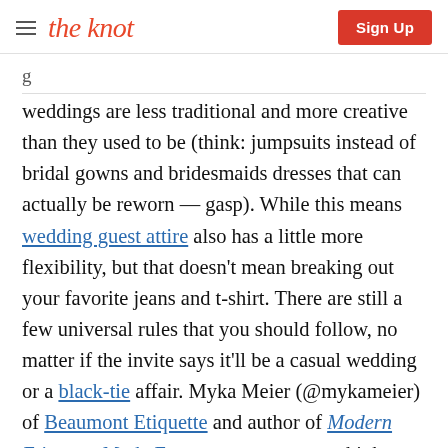the knot | Sign Up
weddings are less traditional and more creative than they used to be (think: jumpsuits instead of bridal gowns and bridesmaids dresses that can actually be reworn — gasp). While this means wedding guest attire also has a little more flexibility, but that doesn't mean breaking out your favorite jeans and t-shirt. There are still a few universal rules that you should follow, no matter if the invite says it'll be a casual wedding or a black-tie affair. Myka Meier (@mykameier) of Beaumont Etiquette and author of Modern Etiquette Made Easy says you want to think about four key factors when it comes to figuring out